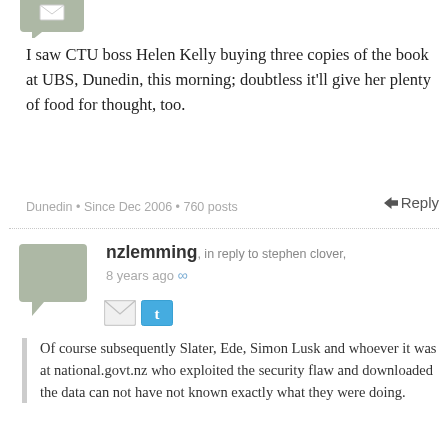[Figure (illustration): Avatar/speech bubble icon for first commenter, partially visible at top]
I saw CTU boss Helen Kelly buying three copies of the book at UBS, Dunedin, this morning; doubtless it’ll give her plenty of food for thought, too.
Dunedin • Since Dec 2006 • 760 posts
↩ Reply
nzlemming, in reply to stephen clover, 8 years ago ∞
[Figure (illustration): Social sharing icons: envelope (email) and Twitter bird]
Of course subsequently Slater, Ede, Simon Lusk and whoever it was at national.govt.nz who exploited the security flaw and downloaded the data can not have not known exactly what they were doing.
Hem, coff national. org .nz
Waikanae • Since Nov 2006 • 2937 posts
↩ Reply
Keir Leslie, 8 years ago ∞